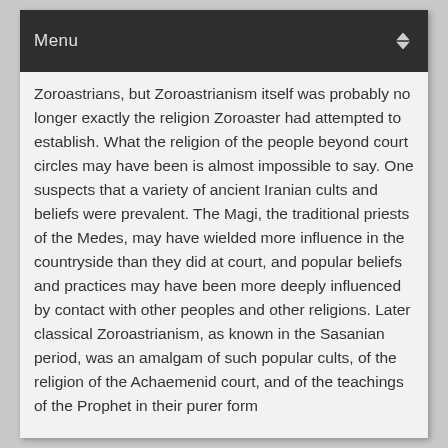Menu
Zoroastrians, but Zoroastrianism itself was probably no longer exactly the religion Zoroaster had attempted to establish. What the religion of the people beyond court circles may have been is almost impossible to say. One suspects that a variety of ancient Iranian cults and beliefs were prevalent. The Magi, the traditional priests of the Medes, may have wielded more influence in the countryside than they did at court, and popular beliefs and practices may have been more deeply influenced by contact with other peoples and other religions. Later classical Zoroastrianism, as known in the Sasanian period, was an amalgam of such popular cults, of the religion of the Achaemenid court, and of the teachings of the Prophet in their purer form